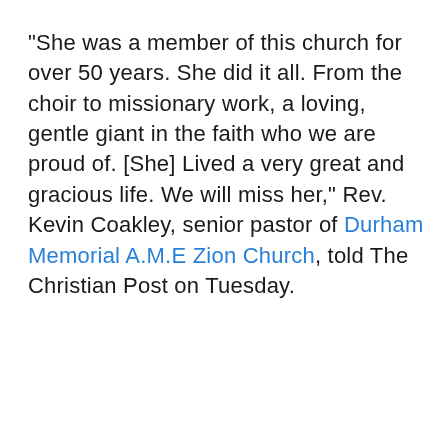"She was a member of this church for over 50 years. She did it all. From the choir to missionary work, a loving, gentle giant in the faith who we are proud of. [She] Lived a very great and gracious life. We will miss her," Rev. Kevin Coakley, senior pastor of Durham Memorial A.M.E Zion Church, told The Christian Post on Tuesday.